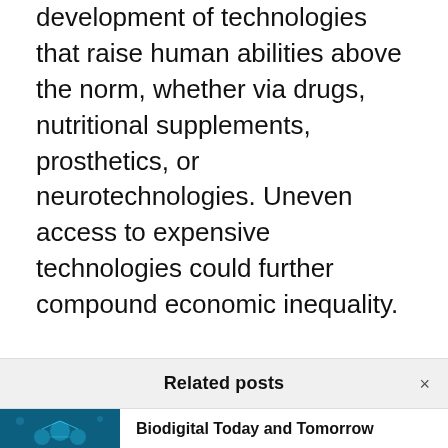development of technologies that raise human abilities above the norm, whether via drugs, nutritional supplements, prosthetics, or neurotechnologies. Uneven access to expensive technologies could further compound economic inequality.
While uneven access could affect disadvantaged and vulnerable groups, democratization of biodigital health products and services could offset some of this gap. For example, if we can produce life-saving or life-enhancing medicines
Related posts
Biodigital Today and Tomorrow